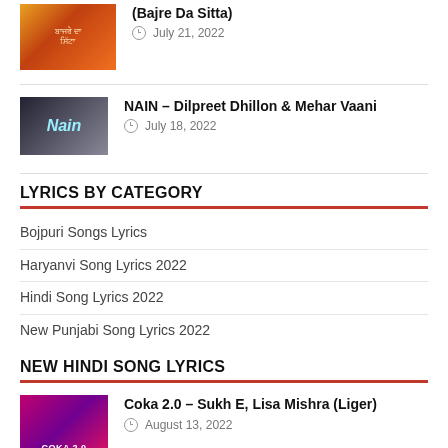[Figure (photo): Thumbnail image for Bajre Da Sitta article]
(Bajre Da Sitta)
July 21, 2022
[Figure (photo): Thumbnail image showing man with Nain text overlay]
NAIN – Dilpreet Dhillon & Mehar Vaani
July 18, 2022
LYRICS BY CATEGORY
Bojpuri Songs Lyrics
Haryanvi Song Lyrics 2022
Hindi Song Lyrics 2022
New Punjabi Song Lyrics 2022
NEW HINDI SONG LYRICS
[Figure (photo): Thumbnail for Coka 2.0 song with pink/purple background]
Coka 2.0 – Sukh E, Lisa Mishra (Liger)
August 13, 2022